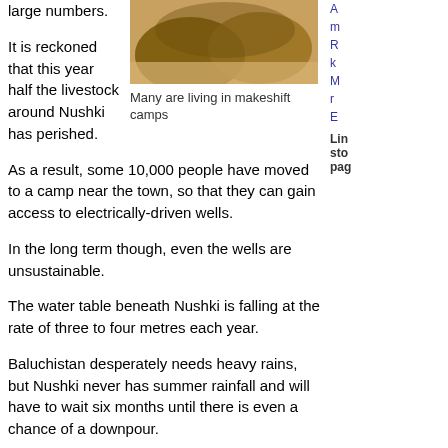large numbers.
[Figure (photo): Close-up photo of large rounded objects (possibly animal carcasses or boulders) on sandy ground]
Many are living in makeshift camps
It is reckoned that this year half the livestock around Nushki has perished.
As a result, some 10,000 people have moved to a camp near the town, so that they can gain access to electrically-driven wells.
In the long term though, even the wells are unsustainable.
The water table beneath Nushki is falling at the rate of three to four metres each year.
Baluchistan desperately needs heavy rains, but Nushki never has summer rainfall and will have to wait six months until there is even a chance of a downpour.
E-mail this story to a friend
Links to more South Asia stories
In This Section